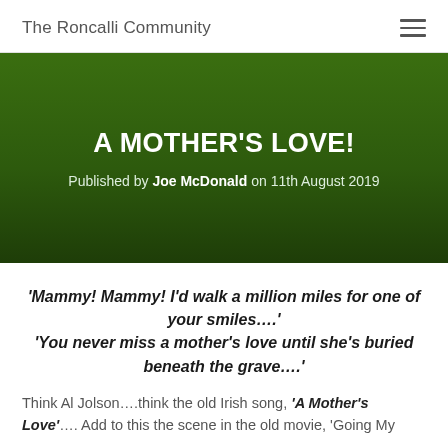The Roncalli Community
A MOTHER'S LOVE!
Published by Joe McDonald on 11th August 2019
'Mammy! Mammy! I'd walk a million miles for one of your smiles....'
'You never miss a mother's love until she's buried beneath the grave....'
Think Al Jolson....think the old Irish song, 'A Mother's Love'.... Add to this the scene in the old movie, 'Going My